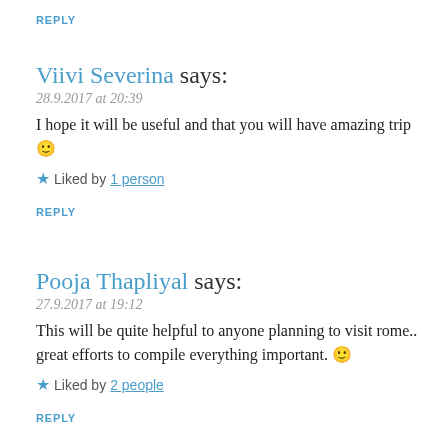REPLY
Viivi Severina says:
28.9.2017 at 20:39
I hope it will be useful and that you will have amazing trip 🙂
★ Liked by 1 person
REPLY
Pooja Thapliyal says:
27.9.2017 at 19:12
This will be quite helpful to anyone planning to visit rome.. great efforts to compile everything important. 🙂
★ Liked by 2 people
REPLY
Viivi Severina says: